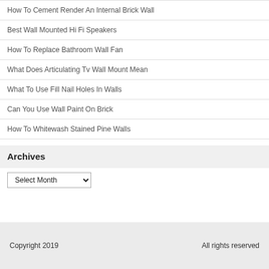How To Cement Render An Internal Brick Wall
Best Wall Mounted Hi Fi Speakers
How To Replace Bathroom Wall Fan
What Does Articulating Tv Wall Mount Mean
What To Use Fill Nail Holes In Walls
Can You Use Wall Paint On Brick
How To Whitewash Stained Pine Walls
Archives
Select Month
Copyright 2019    All rights reserved